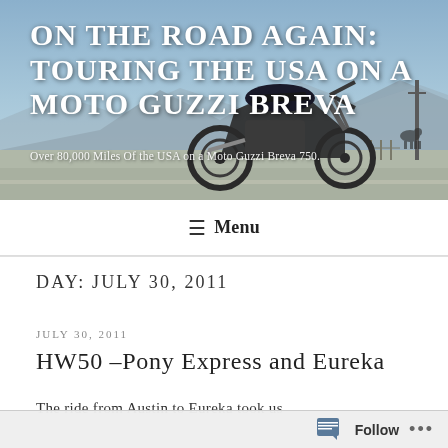[Figure (photo): Moto Guzzi motorcycle parked on a road with mountains and blue sky in the background]
ON THE ROAD AGAIN: TOURING THE USA ON A MOTO GUZZI BREVA
Over 80,000 Miles Of the USA on a Moto Guzzi Breva 750.
☰ Menu
DAY: JULY 30, 2011
JULY 30, 2011
HW50 –Pony Express and Eureka
The ride from Austin to Eureka took us
Follow ...